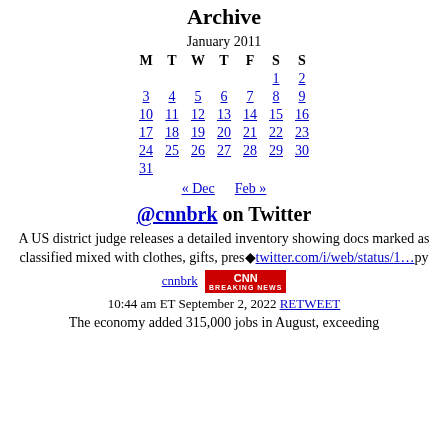Archive
| M | T | W | T | F | S | S |
| --- | --- | --- | --- | --- | --- | --- |
|  |  |  |  |  | 1 | 2 |
| 3 | 4 | 5 | 6 | 7 | 8 | 9 |
| 10 | 11 | 12 | 13 | 14 | 15 | 16 |
| 17 | 18 | 19 | 20 | 21 | 22 | 23 |
| 24 | 25 | 26 | 27 | 28 | 29 | 30 |
| 31 |  |  |  |  |  |  |
« Dec   Feb »
@cnnbrk on Twitter
A US district judge releases a detailed inventory showing docs marked as classified mixed with clothes, gifts, pres�twitter.com/i/web/status/1…py
cnnbrk 10:44 am ET September 2, 2022 RETWEET
The economy added 315,000 jobs in August, exceeding